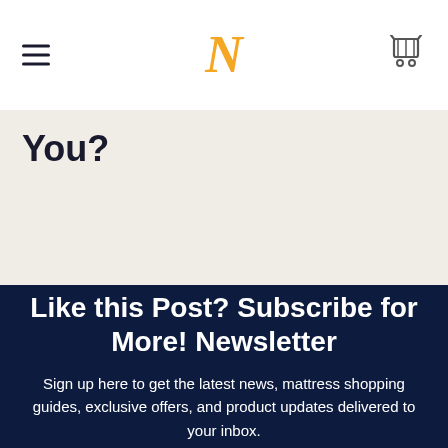N
You?
Like this Post? Subscribe for More! Newsletter
Sign up here to get the latest news, mattress shopping guides, exclusive offers, and product updates delivered to your inbox.